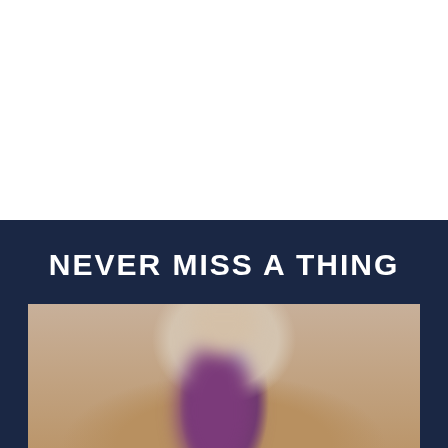[Figure (photo): White space / blank upper section of a document page]
NEVER MISS A THING
[Figure (photo): Blurred photo of a person wearing a purple/maroon jacket over a light shirt, with a blurred warm-toned background]